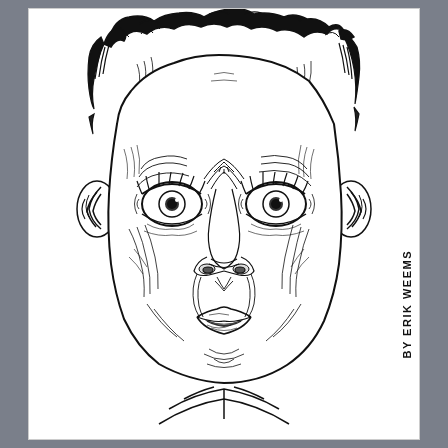[Figure (illustration): Black and white ink illustration of a man's face with wide, startled eyes, detailed pen-and-ink crosshatching style. The face dominates the image with curly hair, large ears, wrinkled forehead, and an open mouth expressing shock or surprise.]
BY ERIK WEEMS